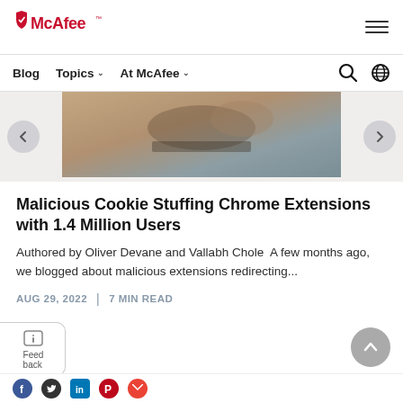[Figure (logo): McAfee logo with red shield icon and red McAfee wordmark with TM symbol]
Blog  Topics ∨  At McAfee ∨
[Figure (photo): Partial image of person using laptop on a bed]
Malicious Cookie Stuffing Chrome Extensions with 1.4 Million Users
Authored by Oliver Devane and Vallabh Chole  A few months ago, we blogged about malicious extensions redirecting...
AUG 29, 2022  |  7 MIN READ